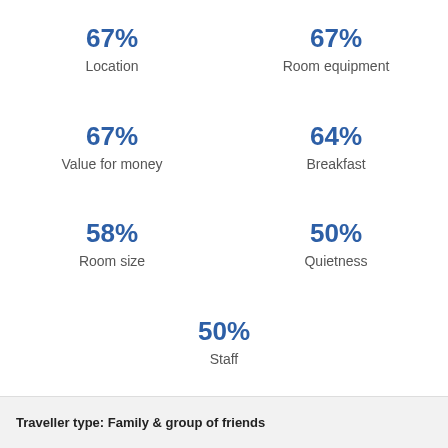67%
Location
67%
Room equipment
67%
Value for money
64%
Breakfast
58%
Room size
50%
Quietness
50%
Staff
Traveller type: Family & group of friends